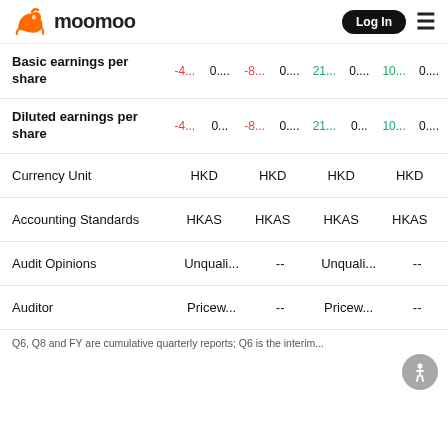moomoo | Log In
|  | Col1 | Col2 | Col3 | Col4 | Col5 | Col6 | Col7 | Col8 |
| --- | --- | --- | --- | --- | --- | --- | --- | --- |
| Basic earnings per share | -4... | 0.... | -8... | 0.... | 21... | 0.... | 10... | 0.... |
| Diluted earnings per share | -4... | 0... | -8... | 0.... | 21... | 0... | 10... | 0.... |
| Currency Unit |  | HKD |  | HKD |  | HKD |  | HKD |
| Accounting Standards |  | HKAS |  | HKAS |  | HKAS |  | HKAS |
| Audit Opinions |  | Unquali... |  | -- | Unquali... |  | -- |  |
| Auditor |  | Pricew... |  | -- | Pricew... |  | -- |  |
Q6, Q8 and FY are cumulative quarterly reports; Q6 is the interim...